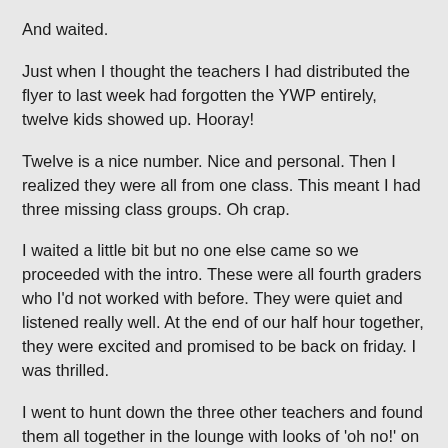And waited.
Just when I thought the teachers I had distributed the flyer to last week had forgotten the YWP entirely, twelve kids showed up. Hooray!
Twelve is a nice number. Nice and personal. Then I realized they were all from one class. This meant I had three missing class groups. Oh crap.
I waited a little bit but no one else came so we proceeded with the intro. These were all fourth graders who I'd not worked with before. They were quiet and listened really well. At the end of our half hour together, they were excited and promised to be back on friday. I was thrilled.
I went to hunt down the three other teachers and found them all together in the lounge with looks of 'oh no!' on their faces when they caught sight of me. "Was that today?"
"Uh huh."